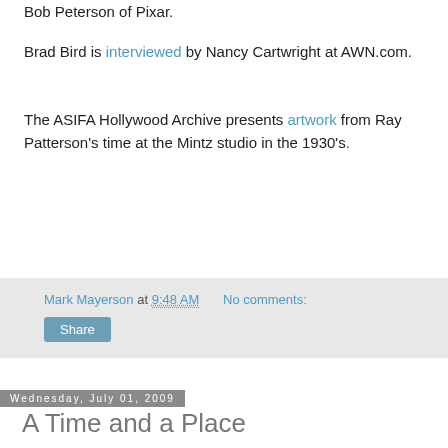Bob Peterson of Pixar.
Brad Bird is interviewed by Nancy Cartwright at AWN.com.
The ASIFA Hollywood Archive presents artwork from Ray Patterson's time at the Mintz studio in the 1930's.
Mark Mayerson at 9:48 AM    No comments:
Share
Wednesday, July 01, 2009
A Time and a Place
I've been catching up on some movies lately and three of them have helped sharpen my thoughts on an aspect of animated films.
The Commitments (1991), directed by Alan Parker based on a novel by Roddy Doyle, is set in Dublin and is about a band that meshes well onstage but can't mesh off stage. A